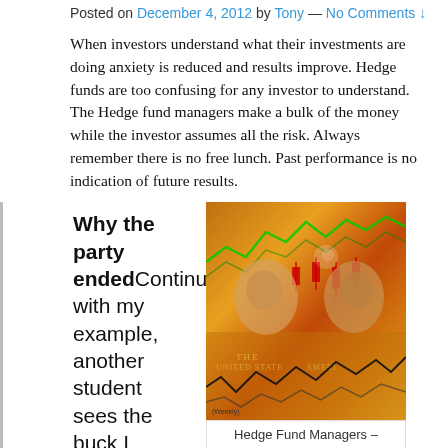Posted on December 4, 2012 by Tony — No Comments ↓
When investors understand what their investments are doing anxiety is reduced and results improve. Hedge funds are too confusing for any investor to understand. The Hedge fund managers make a bulk of the money while the investor assumes all the risk. Always remember there is no free lunch. Past performance is no indication of future results.
Why the party endedContinuing with my example, another student sees the buck I pocketed and decides to enter my space. I find
[Figure (photo): Composite image of hedge fund managers overlaid with financial charts, dollar bill background, stock market candlestick and line charts in red and green, orangey-yellow toned background]
Hedge Fund Managers – Lynching Party Needed (Photo credit: